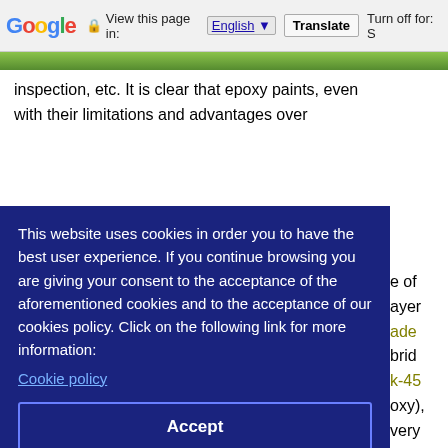Google | View this page in: English | Translate | Turn off for: S
inspection, etc. It is clear that epoxy paints, even with their limitations and advantages over
e of ayer ade brid k-45 oxy), very rade you food ups. nent for
[Figure (screenshot): Cookie consent popup overlay with dark navy blue background. Text reads: 'This website uses cookies in order you to have the best user experience. If you continue browsing you are giving your consent to the acceptance of the aforementioned cookies and to the acceptance of our cookies policy. Click on the following link for more information: Cookie policy'. Contains an Accept button.]
exterior applications. All Pakolith FoodGrade